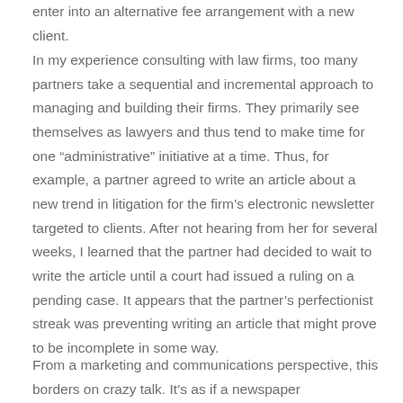enter into an alternative fee arrangement with a new client.
In my experience consulting with law firms, too many partners take a sequential and incremental approach to managing and building their firms. They primarily see themselves as lawyers and thus tend to make time for one “administrative” initiative at a time. Thus, for example, a partner agreed to write an article about a new trend in litigation for the firm’s electronic newsletter targeted to clients. After not hearing from her for several weeks, I learned that the partner had decided to wait to write the article until a court had issued a ruling on a pending case. It appears that the partner’s perfectionist streak was preventing writing an article that might prove to be incomplete in some way.
From a marketing and communications perspective, this borders on crazy talk. It’s as if a newspaper